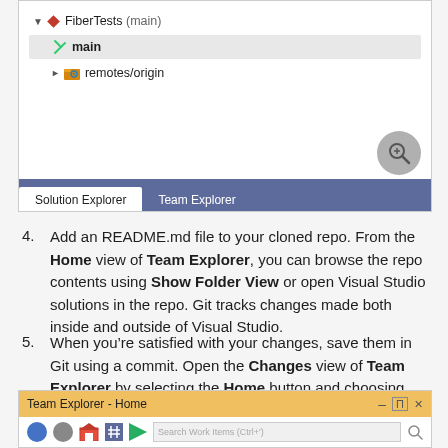[Figure (screenshot): Visual Studio Team Explorer panel showing a Git repository tree with FiberTests (main) node, a highlighted 'main' branch, and 'remotes/origin' node. A magnify/zoom button is visible in the lower-right. Tab bar at bottom shows 'Solution Explorer' (active) and 'Team Explorer' tabs on a dark blue/purple background.]
4. Add an README.md file to your cloned repo. From the Home view of Team Explorer, you can browse the repo contents using Show Folder View or open Visual Studio solutions in the repo. Git tracks changes made both inside and outside of Visual Studio.
5. When you’re satisfied with your changes, save them in Git using a commit. Open the Changes view of Team Explorer by selecting the Home button and choosing Changes.
[Figure (screenshot): Team Explorer - Home panel title bar with a gold/yellow background, showing pin and close controls. Below is a row of navigation icons including colored circles, a house icon, hash icon, arrow icon, and a search box.]